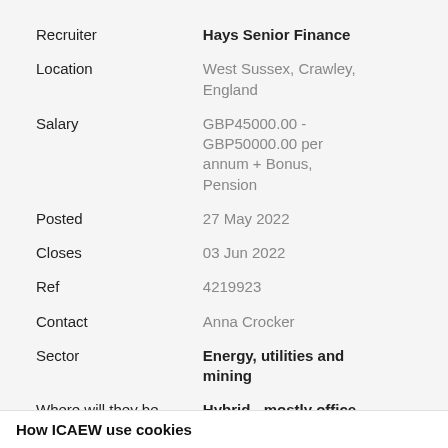| Field | Value |
| --- | --- |
| Recruiter | Hays Senior Finance |
| Location | West Sussex, Crawley, England |
| Salary | GBP45000.00 - GBP50000.00 per annum + Bonus, Pension |
| Posted | 27 May 2022 |
| Closes | 03 Jun 2022 |
| Ref | 4219923 |
| Contact | Anna Crocker |
| Sector | Energy, utilities and mining |
| Where will they be working? | Hybrid - mostly office |
| Salary band | £40,000 - £50,000 |
How ICAEW use cookies